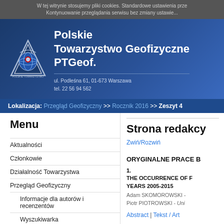W tej witrynie stosujemy pliki cookies. Standardowe ustawienia prze... Kontynuowanie przeglądania serwisu bez zmiany ustawień...
[Figure (logo): PTGeof logo - triangular shape with globe]
Polskie Towarzystwo Geofizyczne PTGeof.
ul. Podleśna 61, 01-673 Warszawa
tel. 22 56 94 562
Lokalizacja: Przegląd Geofizyczny >> Rocznik 2016 >> Zeszyt 4
Menu
Aktualności
Członkowie
Działalność Towarzystwa
Przegląd Geofizyczny
Informacje dla autorów i recenzentów
Wyszukiwarka
ONLINE FIRST
Rocznik 2021
Rocznik 2020
Rocznik 2019
Strona redakcy...
Zwiń/Rozwiń
ORYGINALNE PRACE B...
1. THE OCCURRENCE OF F... YEARS 2005-2015
Adam SKOMOROWSKI - ...
Piotr PIOTROWSKI - Uni...
Abstract | Tekst / Art...